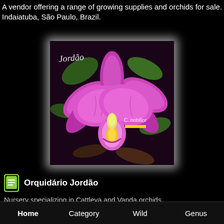A vendor offering a range of growing supplies and orchids for sale. Indaiatuba, São Paulo, Brazil.
[Figure (photo): Photo of bright pink/magenta Cattleya orchid flowers with green leaves, watermarked with 'Jordão' in script text and 'C. nobilior' label with yellow bar in the lower right. Dark background.]
Orquidário Jordão
Nursery specializing in Cattleya and Vanda orchids, Corumbataí, São Paulo, Brazil.
Home    Category    Wild    Genus